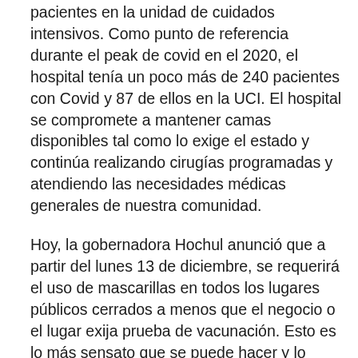pacientes en la unidad de cuidados intensivos. Como punto de referencia durante el peak de covid en el 2020, el hospital tenía un poco más de 240 pacientes con Covid y 87 de ellos en la UCI. El hospital se compromete a mantener camas disponibles tal como lo exige el estado y continúa realizando cirugías programadas y atendiendo las necesidades médicas generales de nuestra comunidad.
Hoy, la gobernadora Hochul anunció que a partir del lunes 13 de diciembre, se requerirá el uso de mascarillas en todos los lugares públicos cerrados a menos que el negocio o el lugar exija prueba de vacunación. Esto es lo más sensato que se puede hacer y lo apoyo plenamente. La oleada invernal y la aparición de la nueva variante llamada omicron hacen que la vacunación completa sea más importante que nunca. Insto a los residentes vacunados a que se pongan sus invecciones de refuerzo lo más